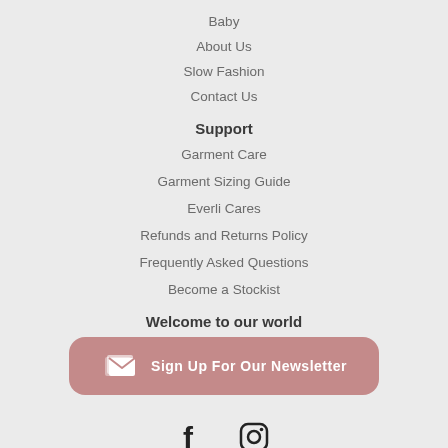Baby
About Us
Slow Fashion
Contact Us
Support
Garment Care
Garment Sizing Guide
Everli Cares
Refunds and Returns Policy
Frequently Asked Questions
Become a Stockist
Welcome to our world
[Figure (other): Pink rounded button with envelope icon and text 'Sign Up For Our Newsletter']
[Figure (other): Social media icons: Facebook and Instagram]